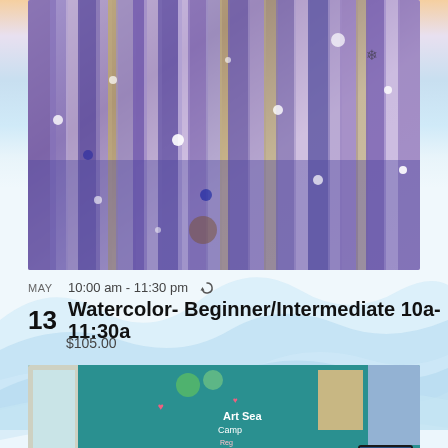[Figure (photo): Watercolor painting with purple, lavender, blue and golden hues, abstract forest or floral texture with white sparkle dots]
MAY   10:00 am - 11:30 pm ↻
13   Watercolor- Beginner/Intermediate 10a-11:30a
$105.00
[Figure (photo): Photo of girls sitting in a colorful art studio classroom with teal walls, decorations and Art Sea Camp sign in background]